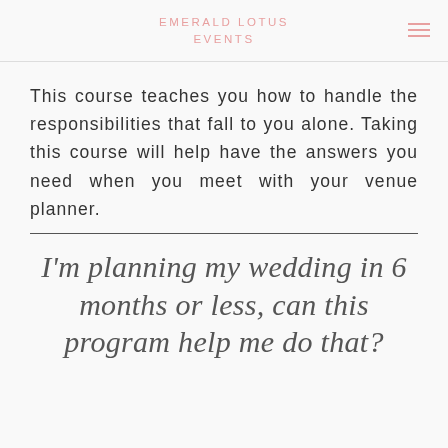EMERALD LOTUS EVENTS
This course teaches you how to handle the responsibilities that fall to you alone. Taking this course will help have the answers you need when you meet with your venue planner.
I'm planning my wedding in 6 months or less, can this program help me do that?